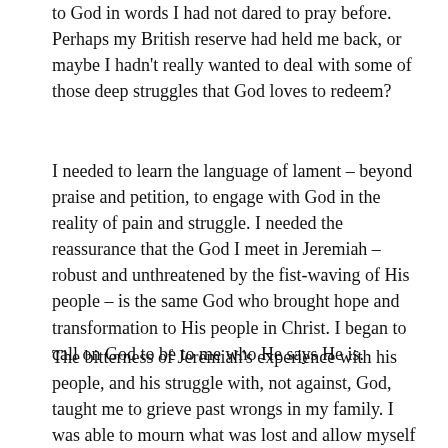to God in words I had not dared to pray before. Perhaps my British reserve had held me back, or maybe I hadn't really wanted to deal with some of those deep struggles that God loves to redeem?
I needed to learn the language of lament – beyond praise and petition, to engage with God in the reality of pain and struggle. I needed the reassurance that the God I meet in Jeremiah – robust and unthreatened by the fist-waving of His people – is the same God who brought hope and transformation to His people in Christ. I began to call on God to be to me who He says He is.
The bitterness of Jeremiah's experience with his people, and his struggle with, not against, God, taught me to grieve past wrongs in my family. I was able to mourn what was lost and allow myself to feel sorrow over injustice – not allowing the old order of things to continue, at least not in my own heart. The book of Jeremiah shows us that as believers, we call on